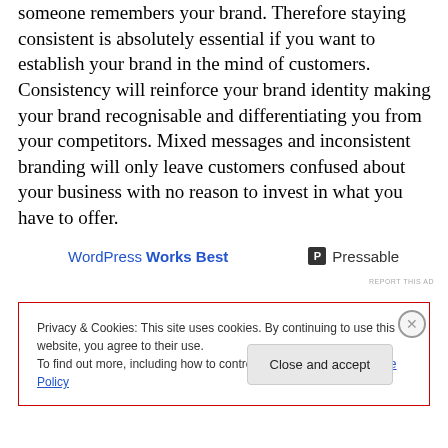someone remembers your brand. Therefore staying consistent is absolutely essential if you want to establish your brand in the mind of customers. Consistency will reinforce your brand identity making your brand recognisable and differentiating you from your competitors. Mixed messages and inconsistent branding will only leave customers confused about your business with no reason to invest in what you have to offer.
[Figure (other): Advertisement banner: 'WordPress Works Best' on the left in blue, and 'P Pressable' logo on the right with REPORT THIS AD text below]
Privacy & Cookies: This site uses cookies. By continuing to use this website, you agree to their use. To find out more, including how to control cookies, see here: Cookie Policy
Close and accept